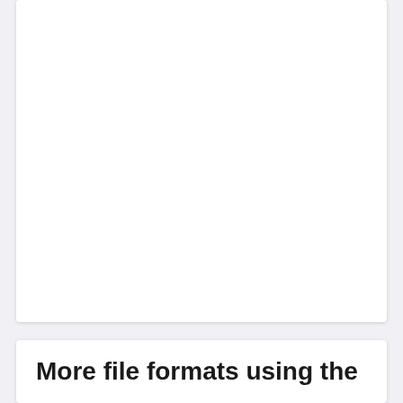[Figure (other): White card/panel area, mostly blank, upper portion of page]
More file formats using the